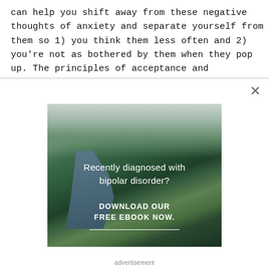can help you shift away from these negative thoughts of anxiety and separate yourself from them so 1) you think them less often and 2) you're not as bothered by them when they pop up. The principles of acceptance and commitment therapy are extremely helpful. These
[Figure (illustration): Advertisement banner showing a forest and river landscape with text overlay reading 'Recently diagnosed with bipolar disorder? DOWNLOAD OUR FREE EBOOK NOW.' with a white underline beneath the call-to-action text.]
advertisement